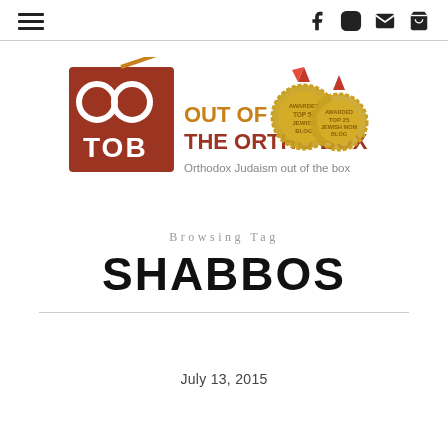Out of the Ortho Box — navigation header with hamburger menu and social icons
[Figure (logo): Out of the Ortho Box logo with TOB square icon, gold award medals, and tagline 'Orthodox Judaism out of the box']
Browsing Tag
SHABBOS
July 13, 2015